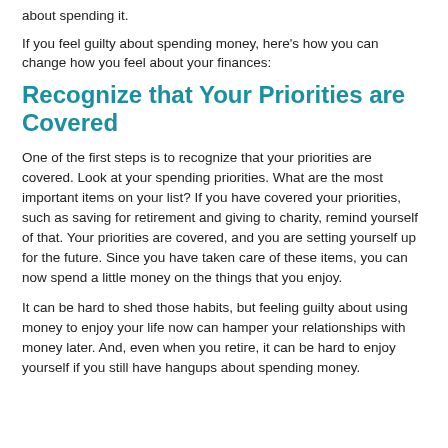about spending it.
If you feel guilty about spending money, here’s how you can change how you feel about your finances:
Recognize that Your Priorities are Covered
One of the first steps is to recognize that your priorities are covered. Look at your spending priorities. What are the most important items on your list? If you have covered your priorities, such as saving for retirement and giving to charity, remind yourself of that. Your priorities are covered, and you are setting yourself up for the future. Since you have taken care of these items, you can now spend a little money on the things that you enjoy.
It can be hard to shed those habits, but feeling guilty about using money to enjoy your life now can hamper your relationships with money later. And, even when you retire, it can be hard to enjoy yourself if you still have hangups about spending money.